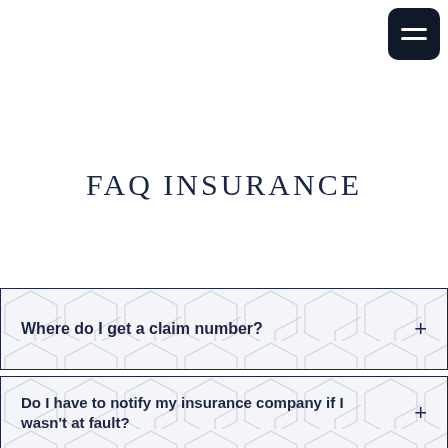[Figure (other): Hamburger menu button icon, dark navy square with rounded corners, two white horizontal lines]
FAQ INSURANCE
Where do I get a claim number? +
Do I have to notify my insurance company if I wasn't at fault? +